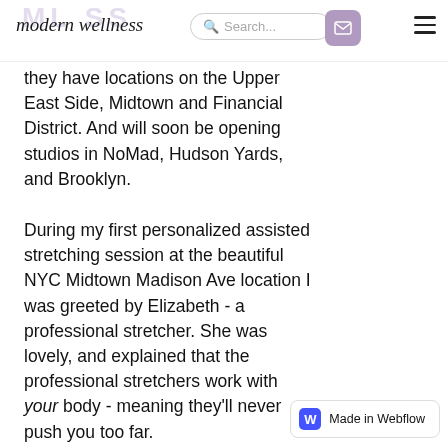modern wellness — [logo with search bar, mail button, hamburger menu]
they have locations on the Upper East Side, Midtown and Financial District. And will soon be opening studios in NoMad, Hudson Yards, and Brooklyn.
During my first personalized assisted stretching session at the beautiful NYC Midtown Madison Ave location I was greeted by Elizabeth - a professional stretcher. She was lovely, and explained that the professional stretchers work with your body - meaning they'll never push you too far.